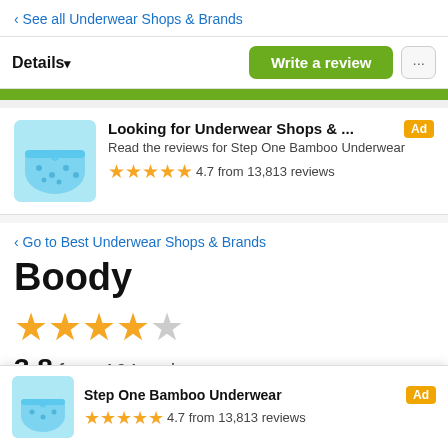‹ See all Underwear Shops & Brands
Details ▾   Write a review   ...
[Figure (screenshot): Green bar divider]
[Figure (photo): Blue patterned underwear product image (ad)]
Looking for Underwear Shops & ... [Ad] Read the reviews for Step One Bamboo Underwear ★★★★★ 4.7 from 13,813 reviews
‹ Go to Best Underwear Shops & Brands
Boody
★★★★☆ 3.8 from 164 reviews · View Statistics
[Figure (screenshot): Bottom popup ad card: Step One Bamboo Underwear, ★★★★★ 4.7 from 13,813 reviews, Ad badge]